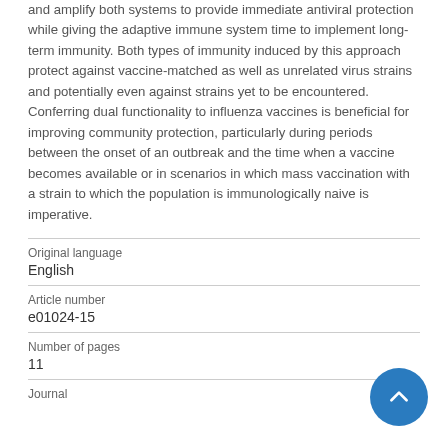and amplify both systems to provide immediate antiviral protection while giving the adaptive immune system time to implement long-term immunity. Both types of immunity induced by this approach protect against vaccine-matched as well as unrelated virus strains and potentially even against strains yet to be encountered. Conferring dual functionality to influenza vaccines is beneficial for improving community protection, particularly during periods between the onset of an outbreak and the time when a vaccine becomes available or in scenarios in which mass vaccination with a strain to which the population is immunologically naive is imperative.
| Original language |  |
| English |  |
| Article number |  |
| e01024-15 |  |
| Number of pages |  |
| 11 |  |
| Journal |  |